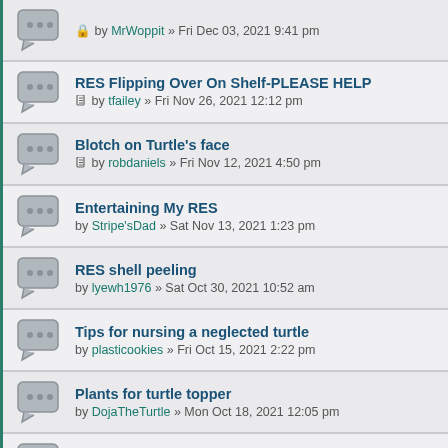RES Flipping Over On Shelf-PLEASE HELP by tfailey » Fri Nov 26, 2021 12:12 pm
Blotch on Turtle's face by robdaniels » Fri Nov 12, 2021 4:50 pm
Entertaining My RES by Stripe'sDad » Sat Nov 13, 2021 1:23 pm
RES shell peeling by lyewh1976 » Sat Oct 30, 2021 10:52 am
Tips for nursing a neglected turtle by plasticookies » Fri Oct 15, 2021 2:22 pm
Plants for turtle topper by DojaTheTurtle » Mon Oct 18, 2021 12:05 pm
Turtle fanning by Ocd » Thu Oct 07, 2021 7:10 pm
Worried about Herbert by hugandkiss2424 » Sun Sep 26, 2021 9:31 am
help - pink spot on turtle's chin? by cherries » Sat Sep 18, 2021 5:43 am
Can you help me identify Jimmy's kind? by ...